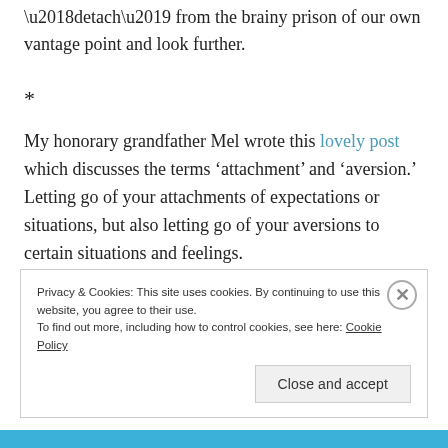‘detach’ from the brainy prison of our own vantage point and look further.
*
My honorary grandfather Mel wrote this lovely post which discusses the terms ‘attachment’ and ‘aversion.’ Letting go of your attachments of expectations or situations, but also letting go of your aversions to certain situations and feelings.
Privacy & Cookies: This site uses cookies. By continuing to use this website, you agree to their use. To find out more, including how to control cookies, see here: Cookie Policy
Close and accept